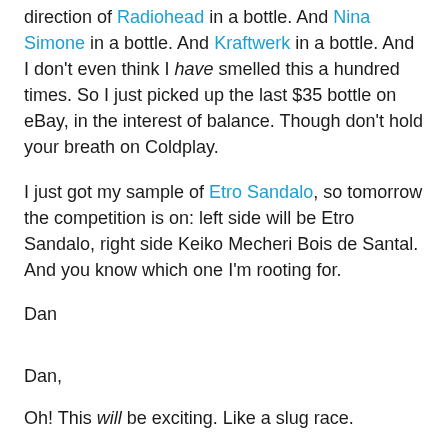direction of Radiohead in a bottle. And Nina Simone in a bottle. And Kraftwerk in a bottle. And I don't even think I have smelled this a hundred times. So I just picked up the last $35 bottle on eBay, in the interest of balance. Though don't hold your breath on Coldplay.
I just got my sample of Etro Sandalo, so tomorrow the competition is on: left side will be Etro Sandalo, right side Keiko Mecheri Bois de Santal. And you know which one I'm rooting for.
Dan
Dan,
Oh! This will be exciting. Like a slug race.
Katie